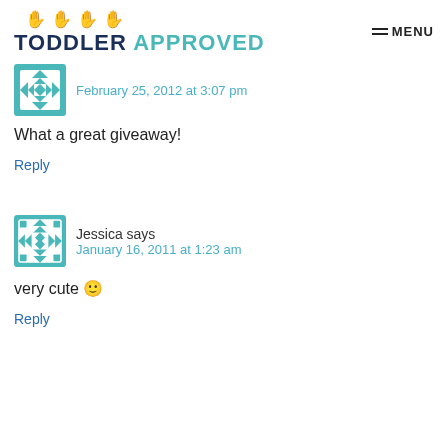TODDLER APPROVED | MENU
February 25, 2012 at 3:07 pm
What a great giveaway!
Reply
Jessica says
January 16, 2011 at 1:23 am
very cute 🙂
Reply